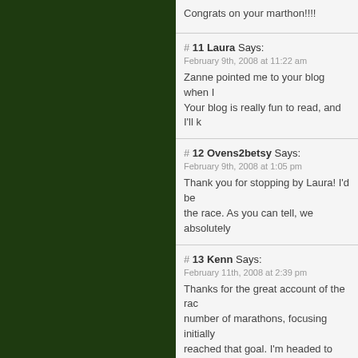Congrats on your marthon!!!!
# 11 Laura Says:
February 9th, 2008 at 11:22 am
Zanne pointed me to your blog when I Your blog is really fun to read, and I'll k
# 12 Ovens2betsy Says:
February 9th, 2008 at 1:05 pm
Thank you for stopping by Laura! I'd be the race. As you can tell, we absolutely
# 13 Kenn Says:
February 11th, 2008 at 2:39 pm
Thanks for the great account of the rac number of marathons, focusing initially reached that goal. I'm headed to Medo experience! Thanks for your detailed a